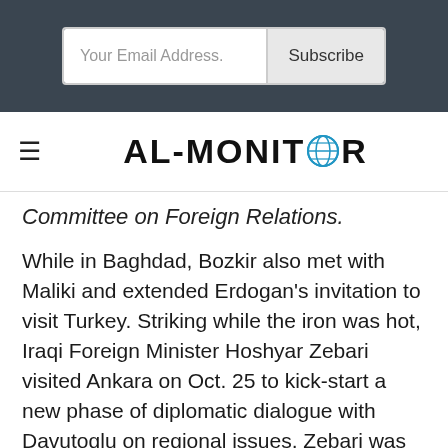[Figure (screenshot): Dark header bar with email subscription form: text field labeled 'Your Email Address.' and a 'Subscribe' button]
AL-MONITOR (logo with globe icon)
Committee on Foreign Relations.
While in Baghdad, Bozkir also met with Maliki and extended Erdogan’s invitation to visit Turkey. Striking while the iron was hot, Iraqi Foreign Minister Hoshyar Zebari visited Ankara on Oct. 25 to kick-start a new phase of diplomatic dialogue with Davutoglu on regional issues. Zebari was received in turn by Erdogan in Ankara.
Davutoglu is expected to travel to Baghdad soon to further the dialogue on regional issues.